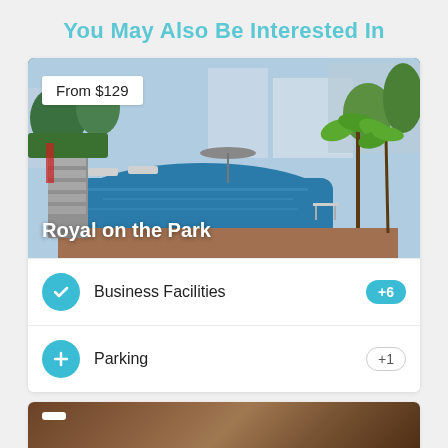You May Also Be Interested In
[Figure (photo): Hotel pool area with lounge chairs, palm trees, and city buildings in background. Price tag shows 'From $129'. Hotel name 'Royal on the Park' overlaid at bottom left.]
Business Facilities +6
Parking +1
[Figure (photo): Partial view of a second hotel card at bottom of page, dark warm-toned interior image with a price tag visible.]